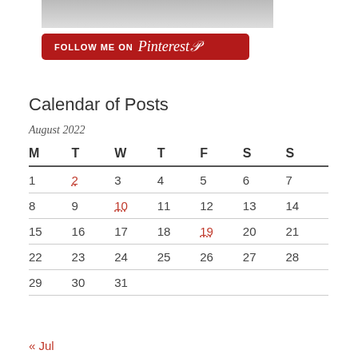[Figure (photo): Partial photo strip at top of page, appears to show a person in light-colored clothing]
[Figure (logo): Follow me on Pinterest button — red rounded rectangle with white text FOLLOW ME ON Pinterest]
Calendar of Posts
| M | T | W | T | F | S | S |
| --- | --- | --- | --- | --- | --- | --- |
| 1 | 2 | 3 | 4 | 5 | 6 | 7 |
| 8 | 9 | 10 | 11 | 12 | 13 | 14 |
| 15 | 16 | 17 | 18 | 19 | 20 | 21 |
| 22 | 23 | 24 | 25 | 26 | 27 | 28 |
| 29 | 30 | 31 |  |  |  |  |
« Jul